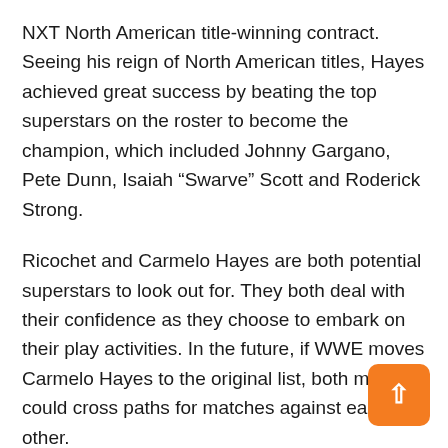NXT North American title-winning contract. Seeing his reign of North American titles, Hayes achieved great success by beating the top superstars on the roster to become the champion, which included Johnny Gargano, Pete Dunn, Isaiah “Swarve” Scott and Roderick Strong.
Ricochet and Carmelo Hayes are both potential superstars to look out for. They both deal with their confidence as they choose to embark on their play activities. In the future, if WWE moves Carmelo Hayes to the original list, both men could cross paths for matches against each other.
Who do you think can win between Ricochet and Carmelo Hayes? Tell us the comments.